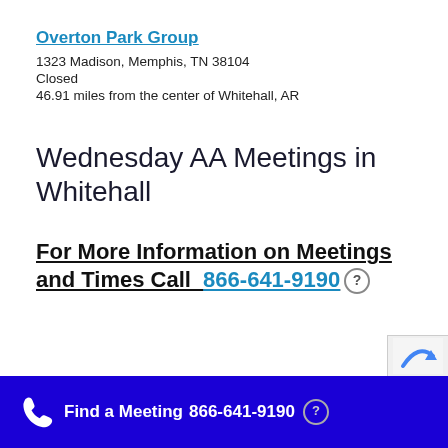Overton Park Group
1323 Madison, Memphis, TN 38104
Closed
46.91 miles from the center of Whitehall, AR
Wednesday AA Meetings in Whitehall
For More Information on Meetings and Times Call  866-641-9190
Find a Meeting  866-641-9190